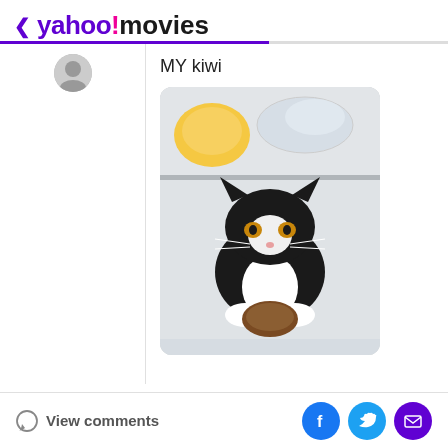< yahoo!movies
MY kiwi
[Figure (photo): A black and white tuxedo cat inside a refrigerator, holding a kiwi fruit with its paws and mouth. Above the cat is a yellow item and a clear plastic bag on the refrigerator shelf.]
View comments